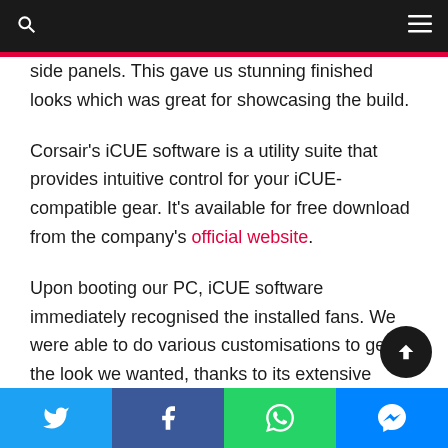🔍  ≡
side panels. This gave us stunning finished looks which was great for showcasing the build.
Corsair's iCUE software is a utility suite that provides intuitive control for your iCUE-compatible gear. It's available for free download from the company's official website.
Upon booting our PC, iCUE software immediately recognised the installed fans. We were able to do various customisations to get the look we wanted, thanks to its extensive customisation and control.
Aside from customising the fans' RGB lighting, we we able to monitor our system's stats like temperatures and
Twitter  Facebook  WhatsApp  Messenger